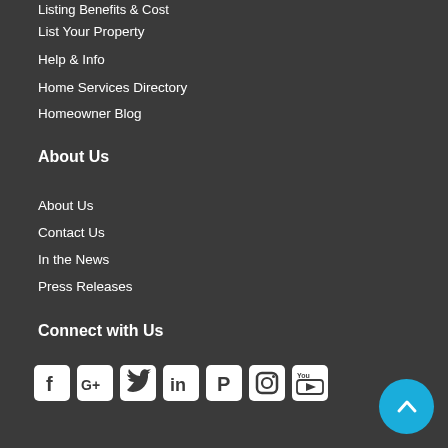Listing Benefits & Cost
List Your Property
Help & Info
Home Services Directory
Homeowner Blog
About Us
About Us
Contact Us
In the News
Press Releases
Connect with Us
[Figure (other): Social media icons row: Facebook, Google+, Twitter, LinkedIn, Pinterest, Instagram, YouTube]
[Figure (other): Back to top button (blue circle with upward chevron)]